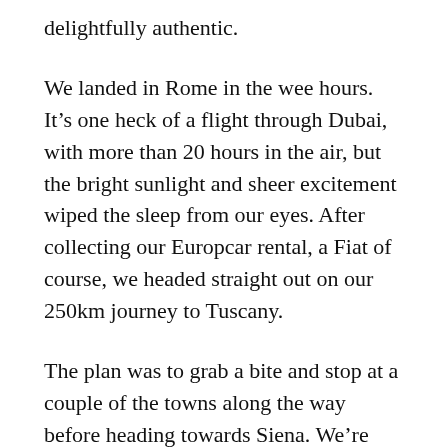delightfully authentic.
We landed in Rome in the wee hours. It’s one heck of a flight through Dubai, with more than 20 hours in the air, but the bright sunlight and sheer excitement wiped the sleep from our eyes. After collecting our Europcar rental, a Fiat of course, we headed straight out on our 250km journey to Tuscany.
The plan was to grab a bite and stop at a couple of the towns along the way before heading towards Siena. We’re pretty good at road trips and we’ve recently taken to seizing any opportunity to be in a car to listening to a podcast. Usually, it’s something about tech,